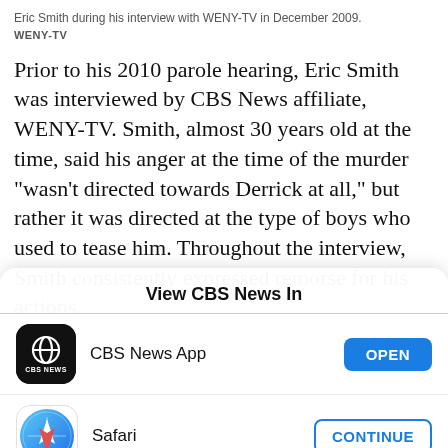Eric Smith during his interview with WENY-TV in December 2009.
WENY-TV
Prior to his 2010 parole hearing, Eric Smith was interviewed by CBS News affiliate, WENY-TV. Smith, almost 30 years old at the time, said his anger at the time of the murder "wasn't directed towards Derrick at all," but rather it was directed at the type of boys who used to tease him. Throughout the interview, Smith consistently expressed remorse for his actions.
View CBS News In
[Figure (logo): CBS News app icon — black background with CBS eye logo and 'CBS NEWS' text]
CBS News App
OPEN
[Figure (logo): Safari browser icon — blue compass on white background]
Safari
CONTINUE